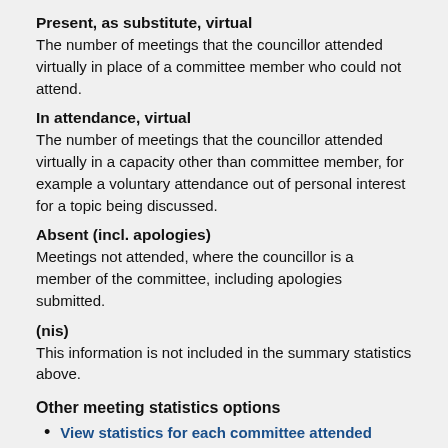Present, as substitute, virtual
The number of meetings that the councillor attended virtually in place of a committee member who could not attend.
In attendance, virtual
The number of meetings that the councillor attended virtually in a capacity other than committee member, for example a voluntary attendance out of personal interest for a topic being discussed.
Absent (incl. apologies)
Meetings not attended, where the councillor is a member of the committee, including apologies submitted.
(nis)
This information is not included in the summary statistics above.
Other meeting statistics options
View statistics for each committee attended
Meeting summary for Councillor Mandy O'Connor
Date    12/05/2022, 15:30